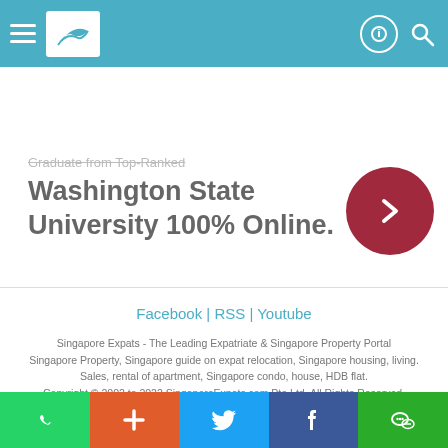Singapore Expats header navigation bar
[Figure (screenshot): Advertisement banner for Washington State University 100% Online with a dark red circular arrow button on the right. Partially visible faded struck-through text at top reads 'Graduate from Top-Ranked'. Main bold text reads 'Washington State University 100% Online.']
Facebook | RSS | Youtube
Singapore Expats - The Leading Expatriate & Singapore Property Portal
Singapore Property, Singapore guide on expat relocation, Singapore housing, living.
Sales, rental of apartment, Singapore condo, house, HDB flat.
Copyright © 2002 to 2022 SingaporeExpats.com Pte Ltd, All Rights Reserved.
Terms and Conditions of Use.
Social sharing bar: WhatsApp, Add, Twitter, Facebook, WeChat